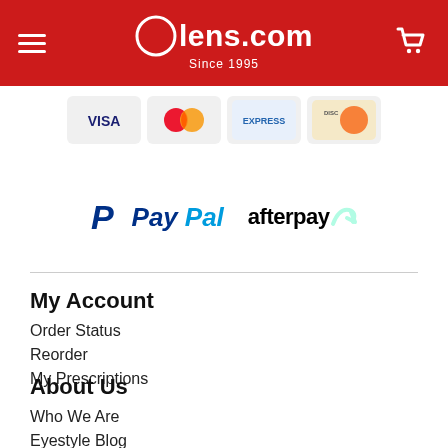Lens.com Since 1995
[Figure (logo): Payment card icons: Visa, Mastercard, American Express, Discover]
[Figure (logo): PayPal and Afterpay payment method logos]
My Account
Order Status
Reorder
My Prescriptions
About Us
Who We Are
Eyestyle Blog